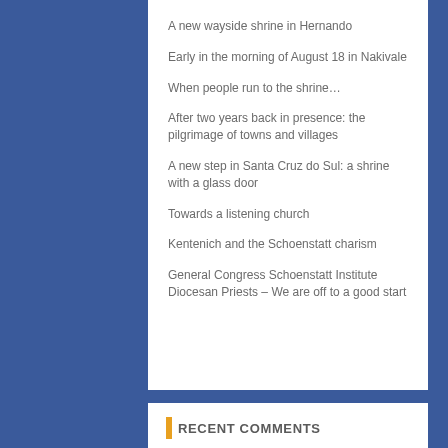A new wayside shrine in Hernando
Early in the morning of August 18 in Nakivale
When people run to the shrine…
After two years back in presence: the pilgrimage of towns and villages
A new step in Santa Cruz do Sul: a shrine with a glass door
Towards a listening church
Kentenich and the Schoenstatt charism
General Congress Schoenstatt Institute Diocesan Priests – We are off to a good start
RECENT COMMENTS